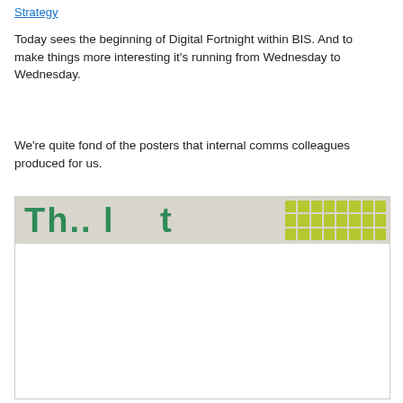Strategy
Today sees the beginning of Digital Fortnight within BIS. And to make things more interesting it's running from Wednesday to Wednesday.
We're quite fond of the posters that internal comms colleagues produced for us.
[Figure (photo): Partial view of a poster with large green text starting with 'Th...' on a light beige background, with a grid of yellow-green squares in the top right corner.]